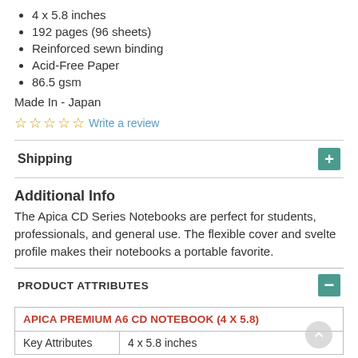4 x 5.8 inches
192 pages (96 sheets)
Reinforced sewn binding
Acid-Free Paper
86.5 gsm
Made In - Japan
☆ ☆ ☆ ☆ ☆ Write a review
Shipping
Additional Info
The Apica CD Series Notebooks are perfect for students, professionals, and general use. The flexible cover and svelte profile makes their notebooks a portable favorite.
PRODUCT ATTRIBUTES
| APICA PREMIUM A6 CD NOTEBOOK (4 X 5.8) |
| --- |
| Key Attributes | 4 x 5.8 inches |